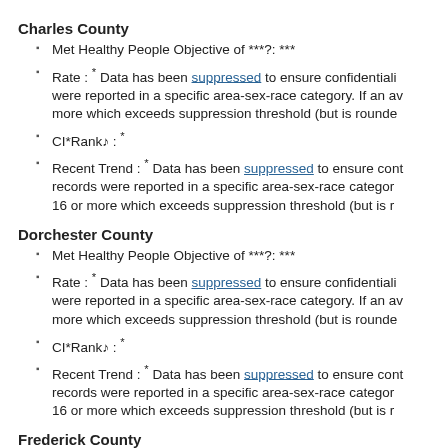Charles County
Met Healthy People Objective of ***?: ***
Rate : * Data has been suppressed to ensure confidentiality were reported in a specific area-sex-race category. If an average more which exceeds suppression threshold (but is rounde
CI*Rank⋄ : *
Recent Trend : * Data has been suppressed to ensure confidentiality records were reported in a specific area-sex-race category. 16 or more which exceeds suppression threshold (but is r
Dorchester County
Met Healthy People Objective of ***?: ***
Rate : * Data has been suppressed to ensure confidentiality were reported in a specific area-sex-race category. If an average more which exceeds suppression threshold (but is rounde
CI*Rank⋄ : *
Recent Trend : * Data has been suppressed to ensure confidentiality records were reported in a specific area-sex-race category. 16 or more which exceeds suppression threshold (but is r
Frederick County
Met Healthy People Objective of ***?: ***